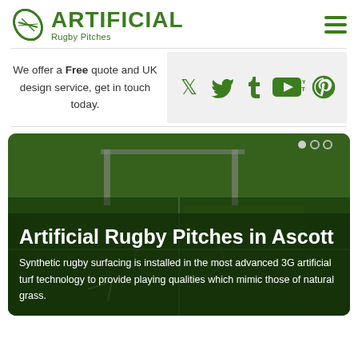ARTIFICIAL Rugby Pitches
We offer a Free quote and UK design service, get in touch today.
[Figure (logo): Social media icons: Twitter, Tumblr, YouTube, Pinterest in green]
[Figure (photo): Rugby pitch with artificial turf, aerial/ground view with white markings]
Artificial Rugby Pitches in Ascott
Synthetic rugby surfacing is installed in the most advanced 3G artificial turf technology to provide playing qualities which mimic those of natural grass.